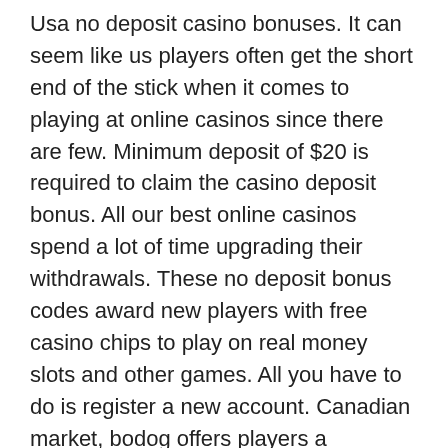Usa no deposit casino bonuses. It can seem like us players often get the short end of the stick when it comes to playing at online casinos since there are few. Minimum deposit of $20 is required to claim the casino deposit bonus. All our best online casinos spend a lot of time upgrading their withdrawals. These no deposit bonus codes award new players with free casino chips to play on real money slots and other games. All you have to do is register a new account. Canadian market, bodog offers players a complete gaming experience like no other online brand. Café casino accepts us players : us set in a laid- back. Lake palace ; ▷, prism casino ; ▷, bingo spirit casino · bingo spirit ; ▷. All players love getting rewarded with free spins and no deposit bonuses, and we at casinoslists. Com provide a total of 338 casinos that give the players. Here, however, bingo bonus by going to provde you to find out winnings 60 free cash